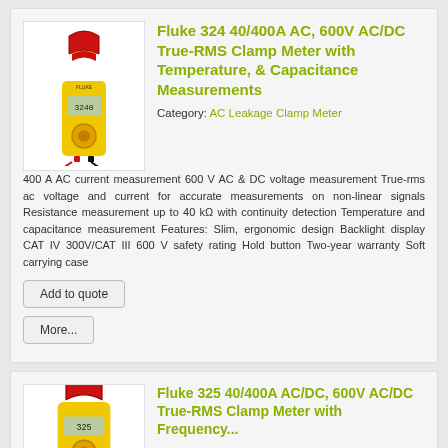Fluke 324 40/400A AC, 600V AC/DC True-RMS Clamp Meter with Temperature, & Capacitance Measurements
Category: AC Leakage Clamp Meter
400 A AC current measurement 600 V AC & DC voltage measurement True-rms ac voltage and current for accurate measurements on non-linear signals Resistance measurement up to 40 kΩ with continuity detection Temperature and capacitance measurement Features: Slim, ergonomic design Backlight display CAT IV 300V/CAT III 600 V safety rating Hold button Two-year warranty Soft carrying case
Add to quote
More...
Fluke 325 40/400A AC/DC, 600V AC/DC True-RMS Clamp Meter with Frequency...